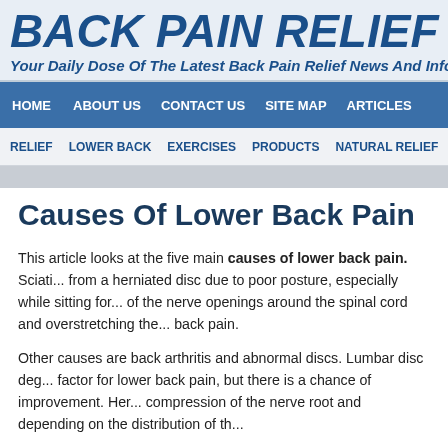BACK PAIN RELIEF DA...
Your Daily Dose Of The Latest Back Pain Relief News And Info...
HOME | ABOUT US | CONTACT US | SITE MAP | ARTICLES
RELIEF | LOWER BACK | EXERCISES | PRODUCTS | NATURAL RELIEF | T...
Causes Of Lower Back Pain
This article looks at the five main causes of lower back pain. Sciati... from a herniated disc due to poor posture, especially while sitting for... of the nerve openings around the spinal cord and overstretching the... back pain.
Other causes are back arthritis and abnormal discs. Lumbar disc deg... factor for lower back pain, but there is a chance of improvement. Her... compression of the nerve root and depending on the distribution of th...